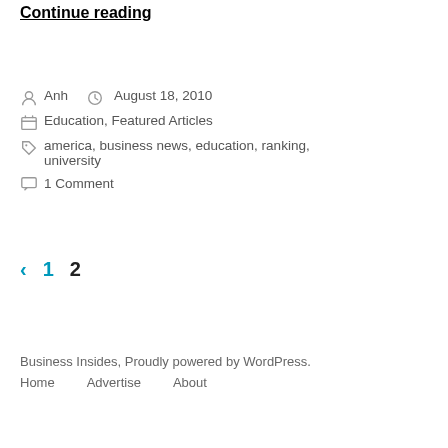Continue reading
Anh  August 18, 2010
Education, Featured Articles
america, business news, education, ranking, university
1 Comment
‹ 1 2
Business Insides, Proudly powered by WordPress.
Home    Advertise    About